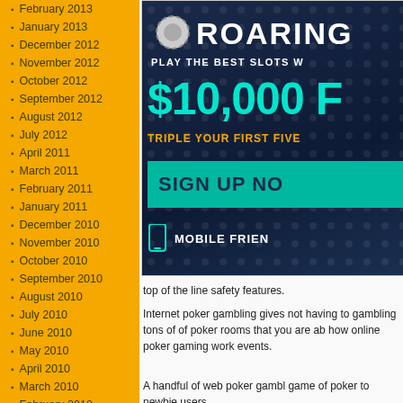February 2013
January 2013
December 2012
November 2012
October 2012
September 2012
August 2012
July 2012
April 2011
March 2011
February 2011
January 2011
December 2010
November 2010
October 2010
September 2010
August 2010
July 2010
June 2010
May 2010
April 2010
March 2010
February 2010
January 2010
[Figure (screenshot): Roaring 21 casino advertisement banner showing $10,000 free bonus offer, sign up now button, and mobile friendly indicator]
top of the line safety features.
Internet poker gambling gives not having to gambling tons of of poker rooms that you are ab how online poker gaming work events.
A handful of web poker gambl game of poker to newbie users